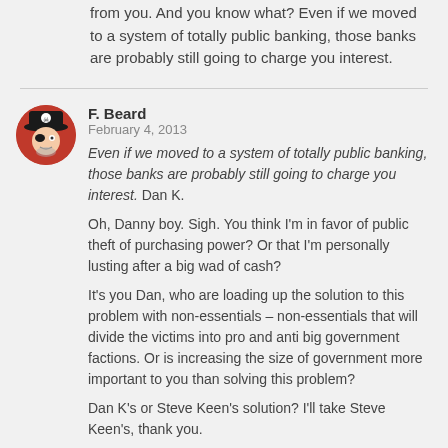from you. And you know what? Even if we moved to a system of totally public banking, those banks are probably still going to charge you interest.
F. Beard
February 4, 2013
Even if we moved to a system of totally public banking, those banks are probably still going to charge you interest. Dan K.

Oh, Danny boy. Sigh. You think I'm in favor of public theft of purchasing power? Or that I'm personally lusting after a big wad of cash?

It's you Dan, who are loading up the solution to this problem with non-essentials – non-essentials that will divide the victims into pro and anti big government factions. Or is increasing the size of government more important to you than solving this problem?

Dan K's or Steve Keen's solution? I'll take Steve Keen's, thank you.
F. Beard
February 4, 2013